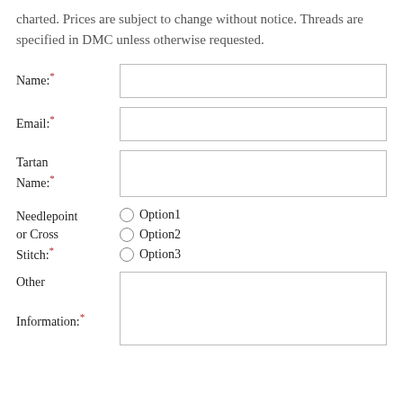charted. Prices are subject to change without notice. Threads are specified in DMC unless otherwise requested.
Name:*
Email:*
Tartan Name:*
Needlepoint or Cross Stitch:*  Option1  Option2  Option3
Other Information:*